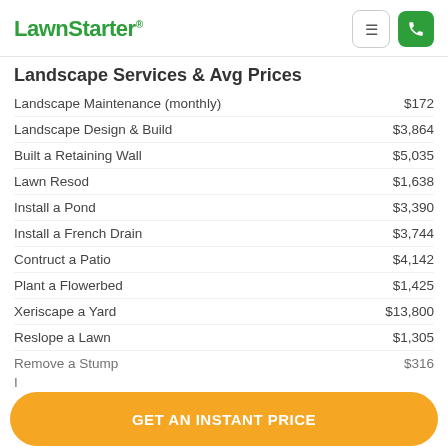LawnStarter
Landscape Services & Avg Prices
| Service | Avg Price |
| --- | --- |
| Landscape Maintenance (monthly) | $172 |
| Landscape Design & Build | $3,864 |
| Built a Retaining Wall | $5,035 |
| Lawn Resod | $1,638 |
| Install a Pond | $3,390 |
| Install a French Drain | $3,744 |
| Contruct a Patio | $4,142 |
| Plant a Flowerbed | $1,425 |
| Xeriscape a Yard | $13,800 |
| Reslope a Lawn | $1,305 |
| Remove a Stump | $316 |